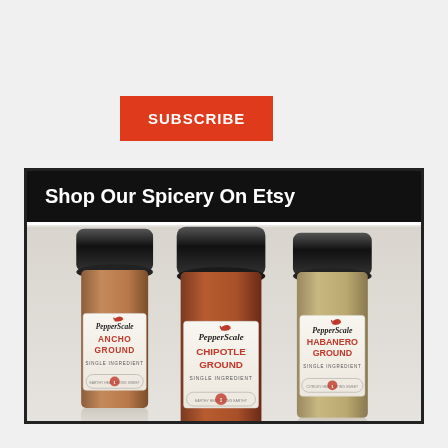SUBSCRIBE
[Figure (photo): Three PepperScale spice jars (Ancho Ground, Chipotle Ground, Habanero Ground) displayed in a row with black lids, white labels, red branding, on a reflective surface. Contains section header 'Shop Our Spicery On Etsy' at the top.]